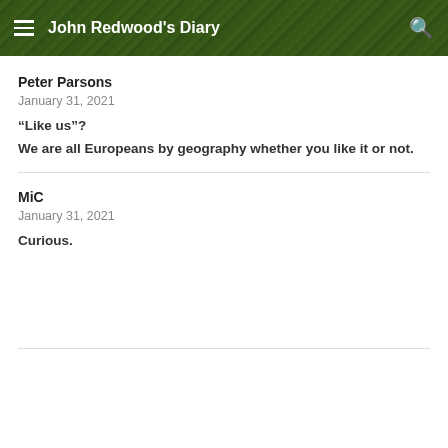John Redwood's Diary
Peter Parsons
January 31, 2021
“Like us”?
We are all Europeans by geography whether you like it or not.
MiC
January 31, 2021
Curious.